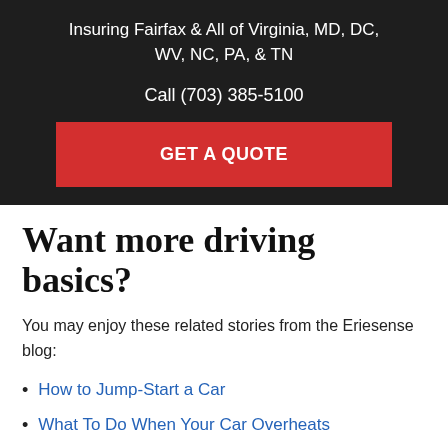Insuring Fairfax & All of Virginia, MD, DC, WV, NC, PA, & TN
Call (703) 385-5100
GET A QUOTE
Want more driving basics?
You may enjoy these related stories from the Eriesense blog:
How to Jump-Start a Car
What To Do When Your Car Overheats
5 Tips for Driving in Fog